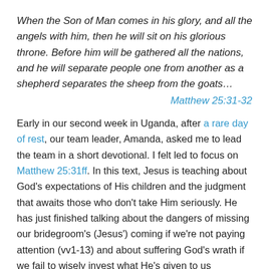When the Son of Man comes in his glory, and all the angels with him, then he will sit on his glorious throne. Before him will be gathered all the nations, and he will separate people one from another as a shepherd separates the sheep from the goats…
Matthew 25:31-32
Early in our second week in Uganda, after a rare day of rest, our team leader, Amanda, asked me to lead the team in a short devotional. I felt led to focus on Matthew 25:31ff. In this text, Jesus is teaching about God's expectations of His children and the judgment that awaits those who don't take Him seriously. He has just finished talking about the dangers of missing our bridegroom's (Jesus') coming if we're not paying attention (vv1-13) and about suffering God's wrath if we fail to wisely invest what He's given to us